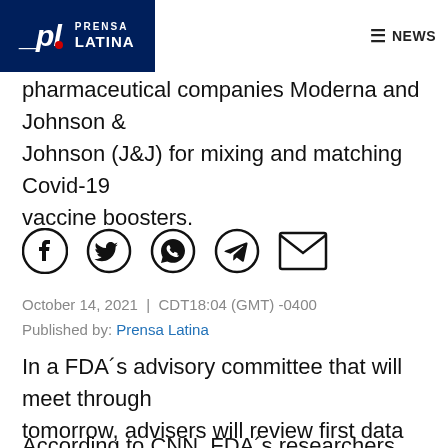PL PRENSA LATINA | NEWS
pharmaceutical companies Moderna and Johnson & Johnson (J&J) for mixing and matching Covid-19 vaccine boosters.
[Figure (other): Social media share icons: Facebook, Twitter, WhatsApp, Telegram, Email]
October 14, 2021 | CDT18:04 (GMT) -0400
Published by: Prensa Latina
In a FDA´s advisory committee that will meet through tomorrow, advisers will review first data about Moderna and J&J booster doses.
According to CNN, FDA´s researchers have been trying a variety of combinations.